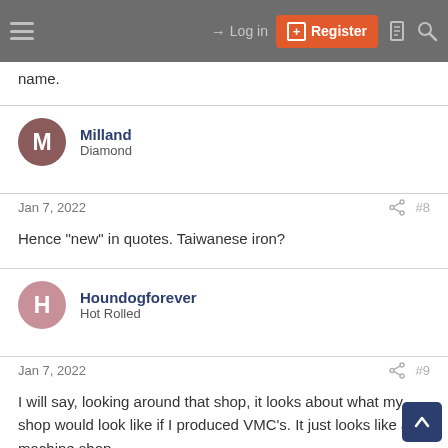Log in | Register
name.
Milland
Diamond
Jan 7, 2022  #8
Hence "new" in quotes. Taiwanese iron?
Houndogforever
Hot Rolled
Jan 7, 2022  #9
I will say, looking around that shop, it looks about what my shop would look like if I produced VMC's. It just looks like a machine shop.